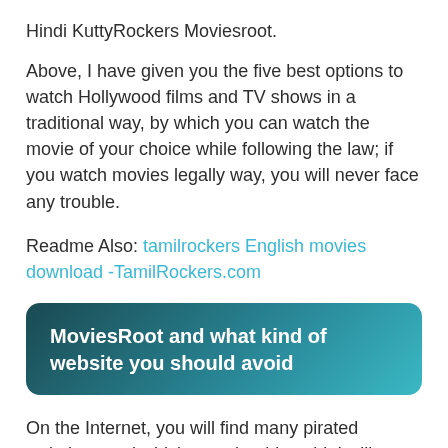Hindi KuttyRockers Moviesroot.
Above, I have given you the five best options to watch Hollywood films and TV shows in a traditional way, by which you can watch the movie of your choice while following the law; if you watch movies legally way, you will never face any trouble.
Readme Also: tamilrockers English movies download -TamilRockers.com
MoviesRoot and what kind of website you should avoid
On the Internet, you will find many pirated websites, and which you should avoid; I will not